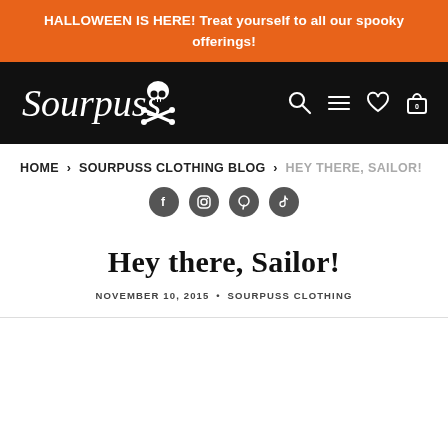HALLOWEEN IS HERE! Treat yourself to all our spooky offerings!
[Figure (logo): Sourpuss Clothing logo with skull and crossbones on black navigation bar with search, menu, wishlist, and cart icons]
HOME › SOURPUSS CLOTHING BLOG › HEY THERE, SAILOR!
[Figure (infographic): Social media icons row: Facebook, Instagram, Pinterest, TikTok]
Hey there, Sailor!
NOVEMBER 10, 2015 • SOURPUSS CLOTHING